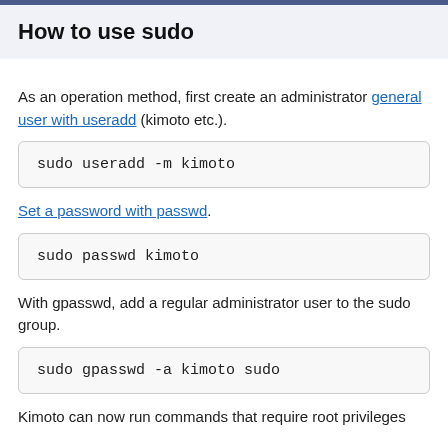How to use sudo
As an operation method, first create an administrator general user with useradd (kimoto etc.).
sudo useradd -m kimoto
Set a password with passwd.
sudo passwd kimoto
With gpasswd, add a regular administrator user to the sudo group.
sudo gpasswd -a kimoto sudo
Kimoto can now run commands that require root privileges